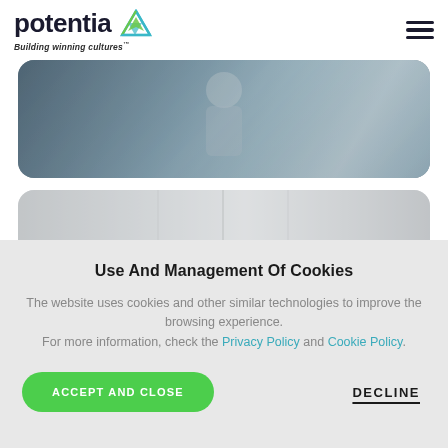[Figure (logo): Potentia logo with teal/green arrow icon and text 'Building winning cultures™']
[Figure (photo): Hero banner photo of a person (appears to be a healthcare/professional setting), dark teal tones]
[Figure (photo): Second banner image, light grey tones showing architectural/interior space]
Use And Management Of Cookies
The website uses cookies and other similar technologies to improve the browsing experience. For more information, check the Privacy Policy and Cookie Policy.
ACCEPT AND CLOSE
DECLINE